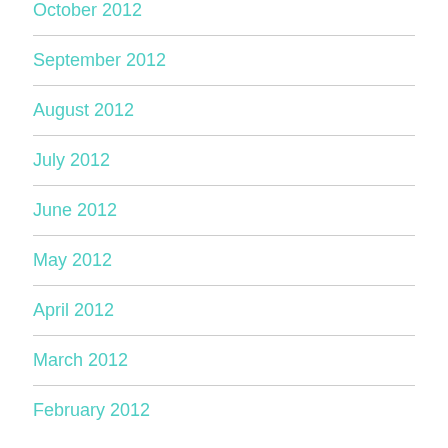October 2012
September 2012
August 2012
July 2012
June 2012
May 2012
April 2012
March 2012
February 2012